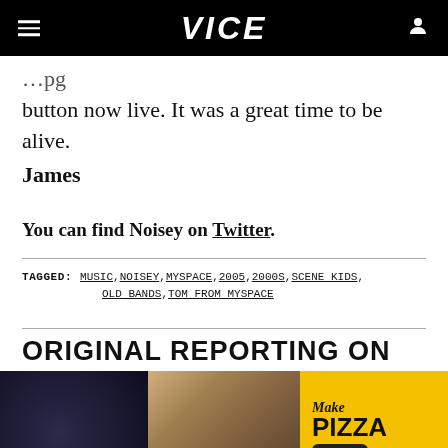VICE
button now live. It was a great time to be alive.
James
You can find Noisey on Twitter.
TAGGED: MUSIC, NOISEY, MYSPACE, 2005, 2000S, SCENE KIDS, OLD BANDS, TOM FROM MYSPACE
ORIGINAL REPORTING ON EVERYTHING
[Figure (photo): Advertisement banner: Make a Friend or Two / Make Pizza Ooni Shop Now]